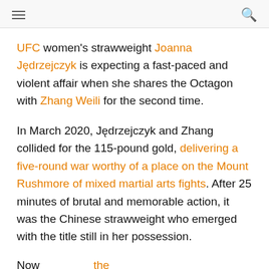[hamburger menu] [search icon]
UFC women's strawweight Joanna Jędrzejczyk is expecting a fast-paced and violent affair when she shares the Octagon with Zhang Weili for the second time.
In March 2020, Jędrzejczyk and Zhang collided for the 115-pound gold, delivering a five-round war worthy of a place on the Mount Rushmore of mixed martial arts fights. After 25 minutes of brutal and memorable action, it was the Chinese strawweight who emerged with the title still in her possession.
Now...